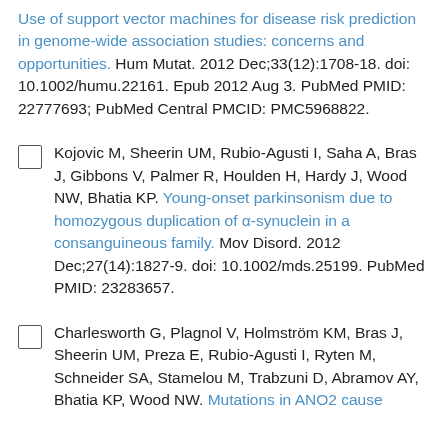Gusser Y, Sharma M. Use of support vector machines for disease risk prediction in genome-wide association studies: concerns and opportunities. Hum Mutat. 2012 Dec;33(12):1708-18. doi: 10.1002/humu.22161. Epub 2012 Aug 3. PubMed PMID: 22777693; PubMed Central PMCID: PMC5968822.
Kojovic M, Sheerin UM, Rubio-Agusti I, Saha A, Bras J, Gibbons V, Palmer R, Houlden H, Hardy J, Wood NW, Bhatia KP. Young-onset parkinsonism due to homozygous duplication of α-synuclein in a consanguineous family. Mov Disord. 2012 Dec;27(14):1827-9. doi: 10.1002/mds.25199. PubMed PMID: 23283657.
Charlesworth G, Plagnol V, Holmström KM, Bras J, Sheerin UM, Preza E, Rubio-Agusti I, Ryten M, Schneider SA, Stamelou M, Trabzuni D, Abramov AY, Bhatia KP, Wood NW. Mutations in ANO2 cause...